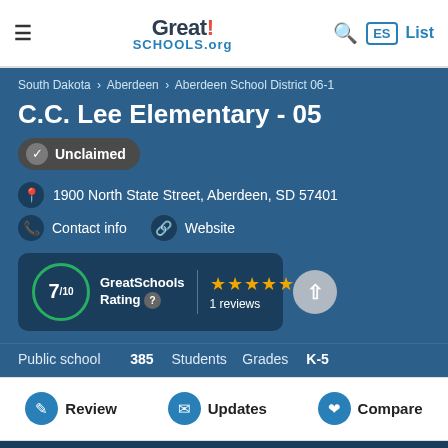Great!SCHOOLS.org
South Dakota › Aberdeen › Aberdeen School District 06-1
C.C. Lee Elementary - 05
Unclaimed
1900 North State Street, Aberdeen, SD 57401
Contact info  Website
7/10 GreatSchools Rating  ★★★★★ 1 reviews
Public school  385 Students  Grades K-5
Review  Updates  Compare